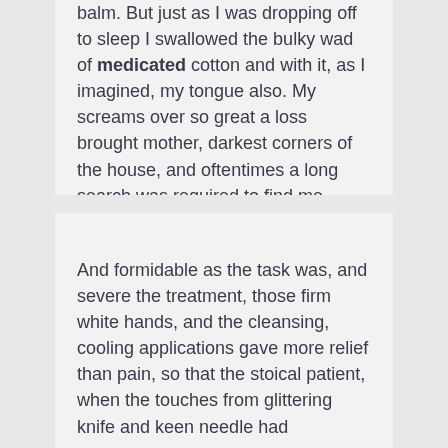balm. But just as I was dropping off to sleep I swallowed the bulky wad of medicated cotton and with it, as I imagined, my tongue also. My screams over so great a loss brought mother, darkest corners of the house, and oftentimes a long search was required to find me.
John Muir - The Story of My Boyhood and Youth
And formidable as the task was, and severe the treatment, those firm white hands, and the cleansing, cooling applications gave more relief than pain, so that the stoical patient, when the touches from glittering knife and keen needle had